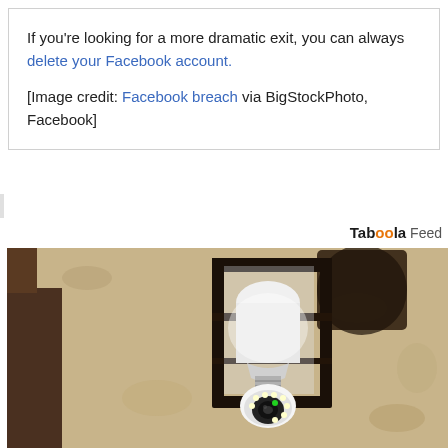If you're looking for a more dramatic exit, you can always delete your Facebook account.
[Image credit: Facebook breach via BigStockPhoto, Facebook]
[Figure (photo): Taboola Feed advertisement section showing an outdoor wall lantern with a hidden security camera bulb installed inside it, mounted on a textured stone/stucco wall.]